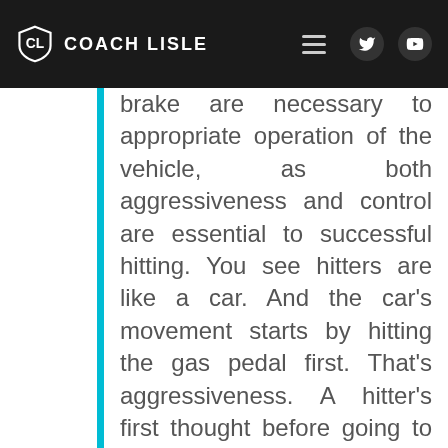COACH LISLE
brake are necessary to appropriate operation of the vehicle, as both aggressiveness and control are essential to successful hitting. You see hitters are like a car. And the car's movement starts by hitting the gas pedal first. That's aggressiveness. A hitter's first thought before going to the plate should be about making good, solid contact. She anticipates a pitch she can hit and is ready for it when she